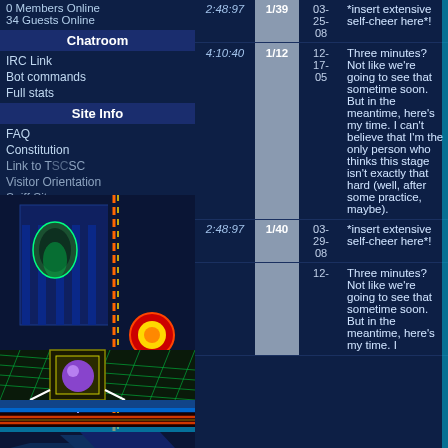0 Members Online
34 Guests Online
Chatroom
IRC Link
Bot commands
Full stats
Site Info
FAQ
Constitution
Link to TSC
Visitor Orientation
Spiff Sites
[Figure (screenshot): Video game screenshot showing a Sonic-style platformer level with blue/green neon architecture, power generator with purple orb, and circuit-board style floor patterns.]
| Time | Rank | Date | Comment |
| --- | --- | --- | --- |
| 2:48:97 | 1/39 | 03-25-08 | *insert extensive self-cheer here*! |
| 4:10:40 | 1/12 | 12-17-05 | Three minutes? Not like we're going to see that sometime soon. But in the meantime, here's my time. I can't believe that I'm the only person who thinks this stage isn't exactly that hard (well, after some practice, maybe). |
| 2:48:97 | 1/40 | 03-29-08 | *insert extensive self-cheer here*! |
|  |  | 12- | Three minutes? Not like we're going to see that sometime soon. But in the meantime, here's my time. I |